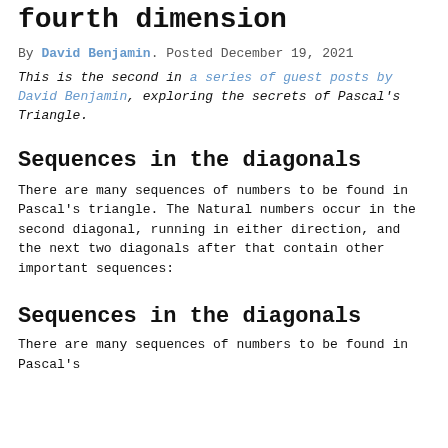fourth dimension
By David Benjamin. Posted December 19, 2021
This is the second in a series of guest posts by David Benjamin, exploring the secrets of Pascal's Triangle.
Sequences in the diagonals
There are many sequences of numbers to be found in Pascal's triangle. The Natural numbers occur in the second diagonal, running in either direction, and the next two diagonals after that contain other important sequences:
Sequences in the diagonals
There are many sequences of numbers to be found in Pascal's